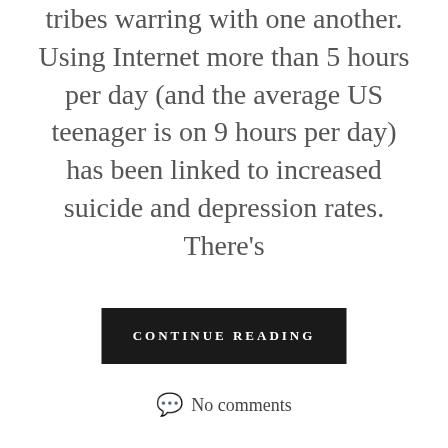tribes warring with one another. Using Internet more than 5 hours per day (and the average US teenager is on 9 hours per day) has been linked to increased suicide and depression rates. There's
CONTINUE READING
No comments